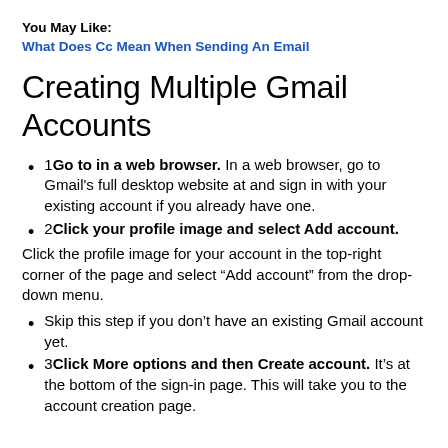You May Like:
What Does Cc Mean When Sending An Email
Creating Multiple Gmail Accounts
1Go to in a web browser. In a web browser, go to Gmail's full desktop website at and sign in with your existing account if you already have one.
2Click your profile image and select Add account. Click the profile image for your account in the top-right corner of the page and select “Add account” from the drop-down menu.
Skip this step if you don’t have an existing Gmail account yet.
3Click More options and then Create account. It’s at the bottom of the sign-in page. This will take you to the account creation page.